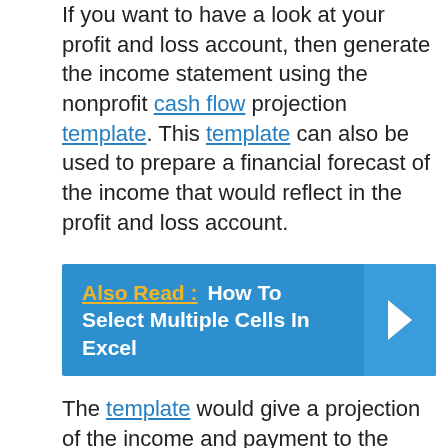If you want to have a look at your profit and loss account, then generate the income statement using the nonprofit cash flow projection template. This template can also be used to prepare a financial forecast of the income that would reflect in the profit and loss account.
Also Read :  How To Select Multiple Cells In Excel
The template would give a projection of the income and payment to the stakeholders based on the current status of the organization, its assets and liabilities, and the target date of the organization's performance. If you want to increase your